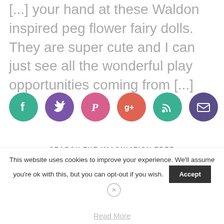[...] your hand at these Waldon inspired peg flower fairy dolls. They are super cute and I can just see all the wonderful play opportunities coming from [...]
[Figure (infographic): Row of six social media icon buttons: Facebook (green), Twitter (purple), Pinterest (pink), Google+ (coral/red), RSS (green), Email (dark purple)]
SEARCH THE IMAGINATION TREE
Search this website
This website uses cookies to improve your experience. We'll assume you're ok with this, but you can opt-out if you wish.
Read More